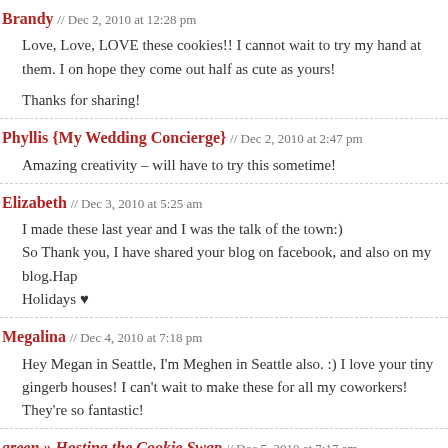Brandy // Dec 2, 2010 at 12:28 pm
Love, Love, LOVE these cookies!! I cannot wait to try my hand at them. I hope they come out half as cute as yours!

Thanks for sharing!
Phyllis {My Wedding Concierge} // Dec 2, 2010 at 2:47 pm
Amazing creativity – will have to try this sometime!
Elizabeth // Dec 3, 2010 at 5:25 am
I made these last year and I was the talk of the town:)
So Thank you, I have shared your blog on facebook, and also on my blog.Happy Holidays ♥
Megalina // Dec 4, 2010 at 7:18 pm
Hey Megan in Seattle, I'm Meghen in Seattle also. :) I love your tiny gingerbread houses! I can't wait to make these for all my coworkers! They're so fantastic!
green » Hosting the Cookie Swap // Dec 5, 2010 at 7:17 am